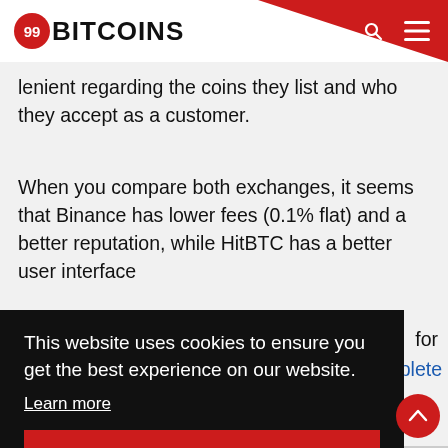99BITCOINS
lenient regarding the coins they list and who they accept as a customer.
When you compare both exchanges, it seems that Binance has lower fees (0.1% flat) and a better reputation, while HitBTC has a better user interface
This website uses cookies to ensure you get the best experience on our website.
Learn more
Accept